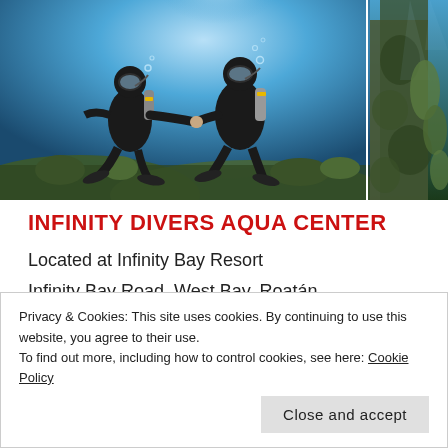[Figure (photo): Two scuba divers holding hands underwater, wearing black wetsuits and diving gear, with blue water and coral reef in background. A second partial photo on the right shows an underwater coral/rock scene.]
INFINITY DIVERS AQUA CENTER
Located at Infinity Bay Resort
Infinity Bay Road, West Bay, Roatán
Underwater photo credit: Infinity Divers
Privacy & Cookies: This site uses cookies. By continuing to use this website, you agree to their use.
To find out more, including how to control cookies, see here: Cookie Policy
Close and accept